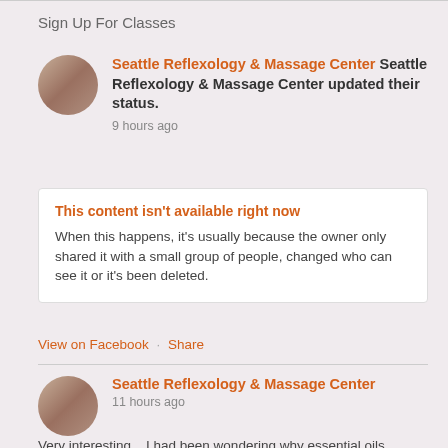Sign Up For Classes
Seattle Reflexology & Massage Center Seattle Reflexology & Massage Center updated their status.
9 hours ago
This content isn't available right now
When this happens, it's usually because the owner only shared it with a small group of people, changed who can see it or it's been deleted.
View on Facebook · Share
Seattle Reflexology & Massage Center
11 hours ago
Very interesting... I had been wondering why essential oils weren't discussed more frequently with respect to Covid prevention and treatment, since most EOs by nature are antiviral, antifungal,